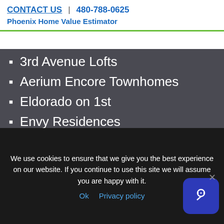CONTACT US | 480-788-0625
Phoenix Home Value Estimator
3rd Avenue Lofts
Aerium Encore Townhomes
Eldorado on 1st
Envy Residences
Inspire Downtown Scottsdale
Main Street Place
Scottsdale Waterfront Residences
The Mark
North Scottsdale Condos For Sale
We use cookies to ensure that we give you the best experience on our website. If you continue to use this site we will assume you are happy with it.
Ok  Privacy policy